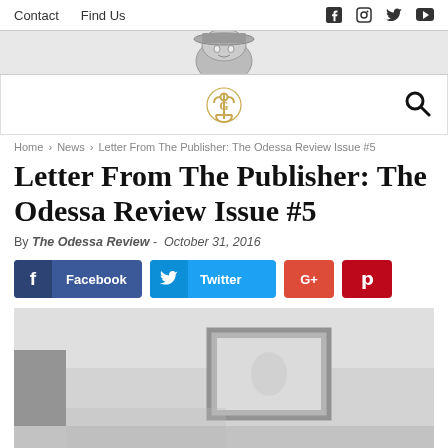Contact   Find Us
[Figure (logo): Odessa Review masthead banner with illustrated face]
[Figure (logo): Odessa Review anchor logo mark (gold)]
Home › News › Letter From The Publisher: The Odessa Review Issue #5
Letter From The Publisher: The Odessa Review Issue #5
By The Odessa Review -  October 31, 2016
[Figure (infographic): Social share buttons: Facebook, Twitter, G+, Pinterest]
[Figure (photo): Blurry black and white interior room scene with framed artwork on wall]